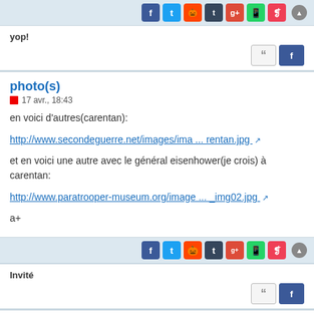[share icons: Facebook, Twitter, Reddit, Tumblr, Google+, WhatsApp, Pocket]
yop!
photo(s)
17 avr., 18:43
en voici d'autres(carentan):
http://www.secondeguerre.net/images/ima ... rentan.jpg
et en voici une autre avec le général eisenhower(je crois) à carentan:
http://www.paratrooper-museum.org/image ... _img02.jpg
a+
[share icons: Facebook, Twitter, Reddit, Tumblr, Google+, WhatsApp, Pocket]
Invité
photo(s)